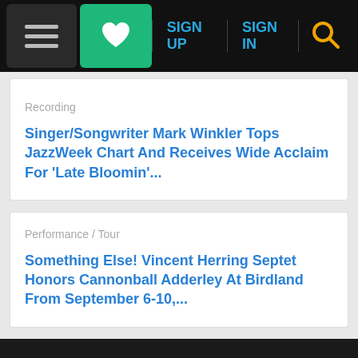SIGN UP  SIGN IN
Recording
Singer/Songwriter Mark Winkler Tops JazzWeek Chart And Receives Wide Acclaim For 'Late Bloomin'...
Performance / Tour
Something Else! Vincent Herring Septet Honors Cannonball Adderley At Birdland From September 6-10,...
AWAKE Chocolates™
Awake Chocolate Labor Day Sale
GET M...  OPEN  ×